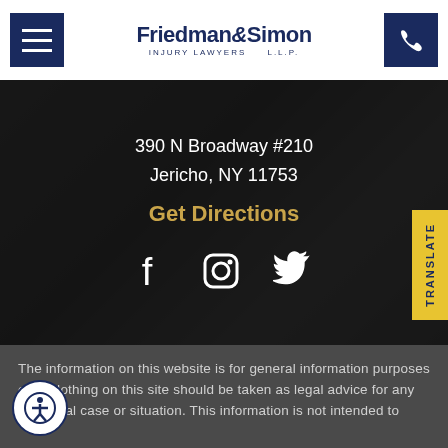Friedman & Simon Injury Lawyers L.L.P.
390 N Broadway #210
Jericho, NY 11753
Get Directions
[Figure (logo): Social media icons: Facebook, Instagram, Twitter]
[Figure (other): Yellow TRANSLATE tab on right edge]
The information on this website is for general information purposes only. Nothing on this site should be taken as legal advice for any individual case or situation. This information is not intended to